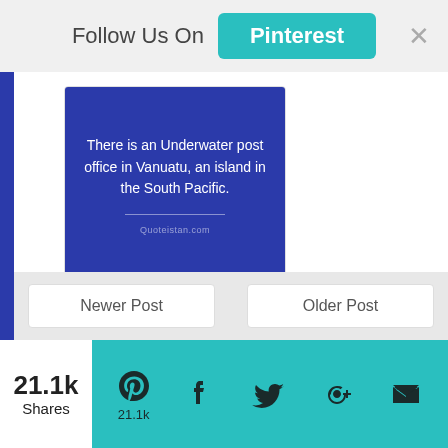Follow Us On Pinterest ×
[Figure (screenshot): Blue card with text: There is an Underwater post office in Vanuatu, an island in the South Pacific. Quoteistan.com]
There is an Underwater post office ...
Newer Post
Older Post
21.1k Shares  21.1k
Pinterest  Facebook  Twitter  Google+  Crown icon